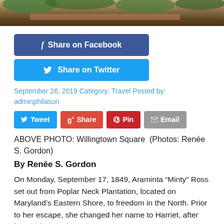[Figure (photo): Partial photo of Willingtown Square, showing ground and foliage/trees at top of page]
[Figure (infographic): Facebook Share button (blue, rounded rectangle) with f icon and text 'Share on Facebook']
[Figure (infographic): Twitter Share button (light blue, rounded rectangle) with bird icon and text 'Share on Twitter']
September 26, 2019 Category: Travel Posted by: adminphilasun
[Figure (infographic): Social sharing buttons row: Tweet (blue), Share (red/orange), Pin (red), Email (gray)]
ABOVE PHOTO: Willingtown Square  (Photos: Renée S. Gordon)
By Renée S. Gordon
On Monday, September 17, 1849, Araminta “Minty” Ross set out from Poplar Neck Plantation, located on Maryland’s Eastern Shore, to freedom in the North. Prior to her escape, she changed her name to Harriet, after her mother, and